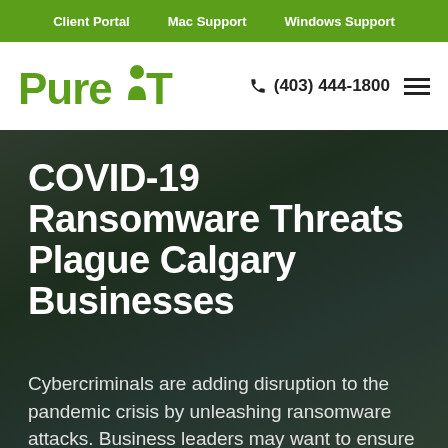Client Portal | Mac Support | Windows Support
[Figure (logo): Pure IT company logo with a person icon between 'Pure' and 'IT', in green color]
(403) 444-1800
COVID-19 Ransomware Threats Plague Calgary Businesses
Cybercriminals are adding disruption to the pandemic crisis by unleashing ransomware attacks. Business leaders may want to ensure